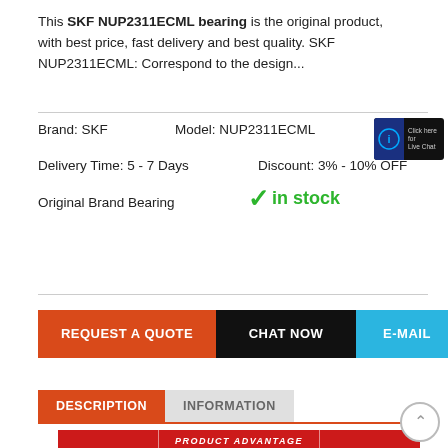This SKF NUP2311ECML bearing is the original product, with best price, fast delivery and best quality. SKF NUP2311ECML: Correspond to the design...
Brand: SKF   Model: NUP2311ECML
Delivery Time: 5 - 7 Days   Discount: 3% - 10% OFF
Original Brand Bearing   ✓ in stock
[Figure (screenshot): Live Chat button with logo icon and 'Click here for Live Chat' text on dark background]
REQUEST A QUOTE   CHAT NOW   E-MAIL
DESCRIPTION   INFORMATION
[Figure (infographic): PRODUCT ADVANTAGE banner in red with white border and italic bold text, with SKF and other brand logos below]